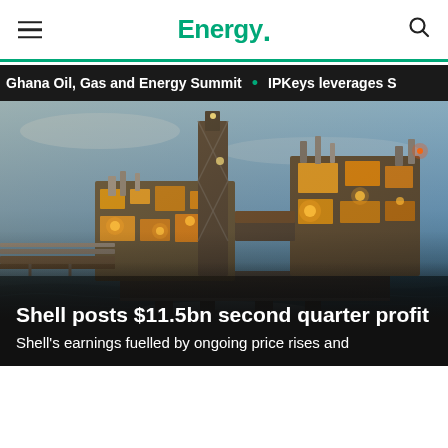Energy.
Ghana Oil, Gas and Energy Summit • IPKeys leverages S
[Figure (photo): Offshore oil and gas platform at dusk/night, lit up with yellow lights, surrounded by ocean water. Large industrial structure with multiple levels, pipes and scaffolding.]
Shell posts $11.5bn second quarter profit
Shell's earnings fuelled by ongoing price rises and